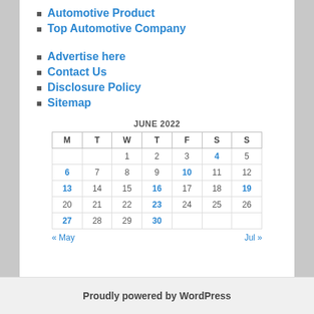Automotive Product
Top Automotive Company
Advertise here
Contact Us
Disclosure Policy
Sitemap
| M | T | W | T | F | S | S |
| --- | --- | --- | --- | --- | --- | --- |
|  |  | 1 | 2 | 3 | 4 | 5 |
| 6 | 7 | 8 | 9 | 10 | 11 | 12 |
| 13 | 14 | 15 | 16 | 17 | 18 | 19 |
| 20 | 21 | 22 | 23 | 24 | 25 | 26 |
| 27 | 28 | 29 | 30 |  |  |  |
Proudly powered by WordPress